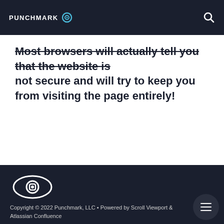PUNCHMARK
Most browsers will actually tell you that the website is not secure and will try to keep you from visiting the page entirely!
[Figure (logo): Punchmark eye/camera logo icon in white outline on dark background]
Copyright © 2022 Punchmark, LLC • Powered by Scroll Viewport & Atlassian Confluence